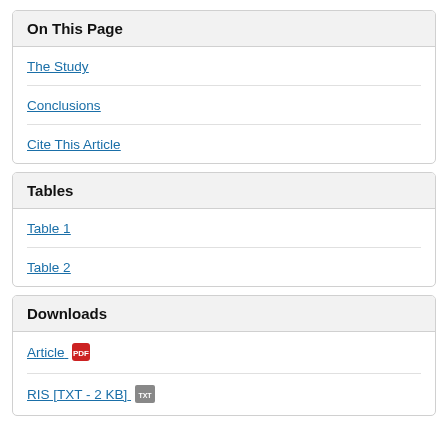On This Page
The Study
Conclusions
Cite This Article
Tables
Table 1
Table 2
Downloads
Article
RIS [TXT - 2 KB]